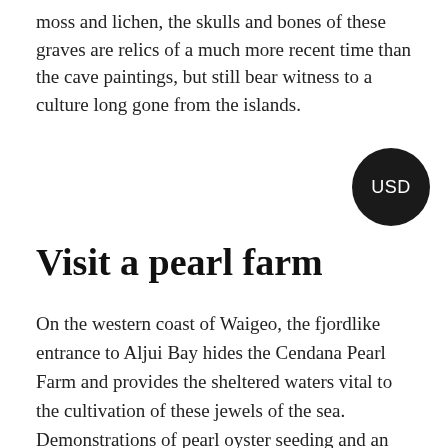moss and lichen, the skulls and bones of these graves are relics of a much more recent time than the cave paintings, but still bear witness to a culture long gone from the islands.
[Figure (other): Circular black badge with white text reading USD]
Visit a pearl farm
On the western coast of Waigeo, the fjordlike entrance to Aljui Bay hides the Cendana Pearl Farm and provides the sheltered waters vital to the cultivation of these jewels of the sea. Demonstrations of pearl oyster seeding and an insight into the time-consuming care and diligence required to successfully produce quality pearls can be had on a visit here. Selpele homestays provide the perfect base to explore Aljui Bay.